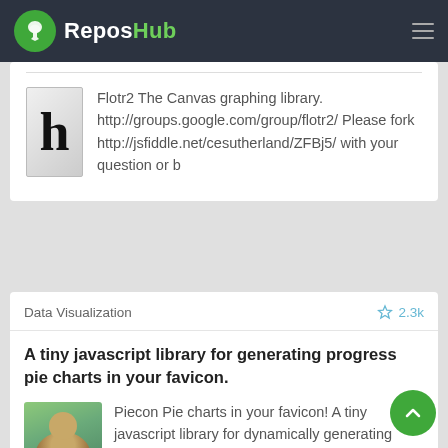ReposHub
Flotr2 The Canvas graphing library. http://groups.google.com/group/flotr2/ Please fork http://jsfiddle.net/cesutherland/ZFBj5/ with your question or b
Data Visualization   ☆ 2.3k
A tiny javascript library for generating progress pie charts in your favicon.
Piecon Pie charts in your favicon! A tiny javascript library for dynamically generating progress pie charts in your favicons. Now with retina support!